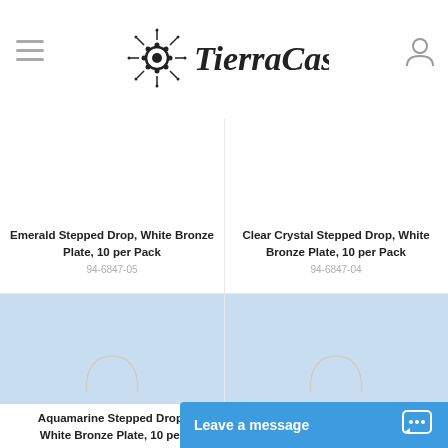[Figure (logo): TierraCast logo with sunburst/asterisk design and serif text]
Emerald Stepped Drop, White Bronze Plate, 10 per Pack
94-6847-05
Clear Crystal Stepped Drop, White Bronze Plate, 10 per Pack
94-6847-04
[Figure (photo): Loading spinner / product image placeholder (rounded bottom arc) for aquamarine product]
[Figure (photo): Loading spinner / product image placeholder (rounded bottom arc) for second product in second row]
Aquamarine Stepped Drop, White Bronze Plate, 1...
Leave a message